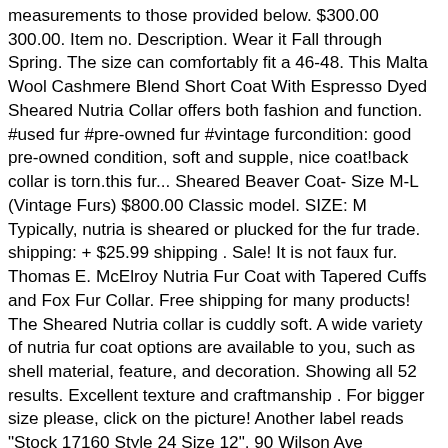measurements to those provided below. $300.00 300.00. Item no. Description. Wear it Fall through Spring. The size can comfortably fit a 46-48. This Malta Wool Cashmere Blend Short Coat With Espresso Dyed Sheared Nutria Collar offers both fashion and function. #used fur #pre-owned fur #vintage furcondition: good pre-owned condition, soft and supple, nice coat!back collar is torn.this fur... Sheared Beaver Coat- Size M-L (Vintage Furs) $800.00 Classic model. SIZE: M Typically, nutria is sheared or plucked for the fur trade. shipping: + $25.99 shipping . Sale! It is not faux fur. Thomas E. McElroy Nutria Fur Coat with Tapered Cuffs and Fox Fur Collar. Free shipping for many products! The Sheared Nutria collar is cuddly soft. A wide variety of nutria fur coat options are available to you, such as shell material, feature, and decoration. Showing all 52 results. Excellent texture and craftmanship . For bigger size please, click on the picture! Another label reads "Stock 17160 Style 24 Size 12". 90 Wilson Ave Englishtown, NJ 07086; 201-348-2899; Sign in Register. Fully let out top quality female Mink pelts Sheared Mink fur